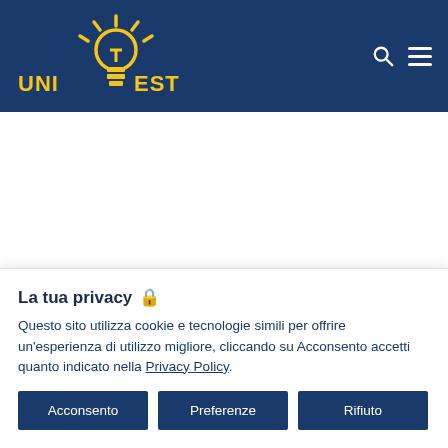[Figure (logo): UniTest logo with lightbulb icon in yellow and blue text on dark blue header background]
Tag: ammissione
La tua privacy 🔒
Questo sito utilizza cookie e tecnologie simili per offrire un'esperienza di utilizzo migliore, cliccando su Acconsento accetti quanto indicato nella Privacy Policy.
Acconsento
Preferenze
Rifiuto